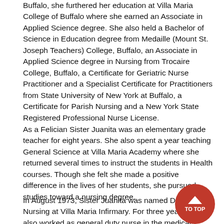Buffalo, she furthered her education at Villa Maria College of Buffalo where she earned an Associate in Applied Science degree. She also held a Bachelor of Science in Education degree from Medaille (Mount St. Joseph Teachers) College, Buffalo, an Associate in Applied Science degree in Nursing from Trocaire College, Buffalo, a Certificate for Geriatric Nurse Practitioner and a Specialist Certificate for Practitioners from State University of New York at Buffalo, a Certificate for Parish Nursing and a New York State Registered Professional Nurse License.
As a Felician Sister Juanita was an elementary grade teacher for eight years. She also spent a year teaching General Science at Villa Maria Academy where she returned several times to instruct the students in Health courses. Though she felt she made a positive difference in the lives of her students, she pursued studies toward a nursing degree.
In August 1973, Sister Juanita was named Director of Nursing at Villa Maria Infirmary. For three years, she also worked as general duty nurse in the medical-surgical unit at Mercy Hospital of Buffalo. In order to be of more service to the sisters, she pursued studies and became a sto...